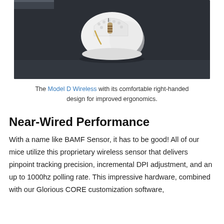[Figure (photo): White Glorious Model D Wireless gaming mouse on a dark mouse pad, photographed from a slightly elevated angle showing the right-handed ergonomic shape with honeycomb holes and gold scroll wheel accent.]
The Model D Wireless with its comfortable right-handed design for improved ergonomics.
Near-Wired Performance
With a name like BAMF Sensor, it has to be good! All of our mice utilize this proprietary wireless sensor that delivers pinpoint tracking precision, incremental DPI adjustment, and an up to 1000hz polling rate. This impressive hardware, combined with our Glorious CORE customization software,